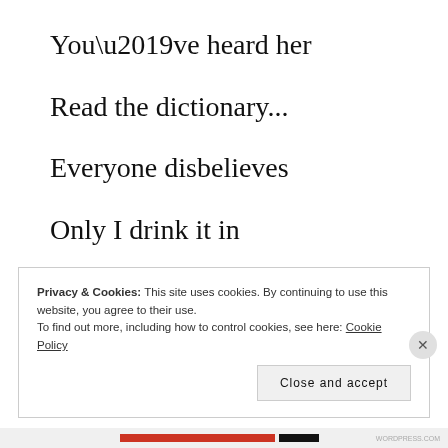You’ve heard her
Read the dictionary…
Everyone disbelieves
Only I drink it in
– sufficiently –
Privacy & Cookies: This site uses cookies. By continuing to use this website, you agree to their use. To find out more, including how to control cookies, see here: Cookie Policy